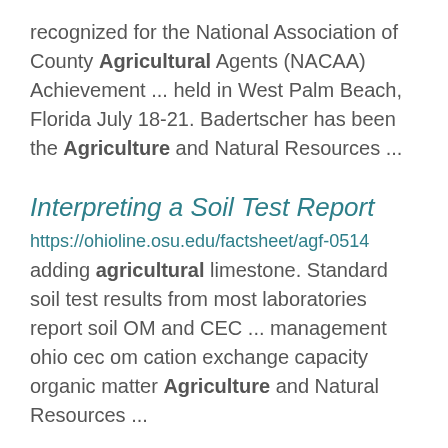recognized for the National Association of County Agricultural Agents (NACAA) Achievement ... held in West Palm Beach, Florida July 18-21. Badertscher has been the Agriculture and Natural Resources ...
Interpreting a Soil Test Report
https://ohioline.osu.edu/factsheet/agf-0514
adding agricultural limestone. Standard soil test results from most laboratories report soil OM and CEC ... management ohio cec om cation exchange capacity organic matter Agriculture and Natural Resources ...